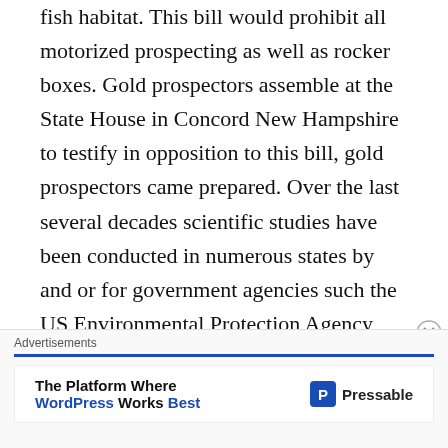fish habitat. This bill would prohibit all motorized prospecting as well as rocker boxes. Gold prospectors assemble at the State House in Concord New Hampshire to testify in opposition to this bill, gold prospectors came prepared. Over the last several decades scientific studies have been conducted in numerous states by and or for government agencies such the US Environmental Protection Agency, Department of Fish and Wildlife of California and Washington State just to name a few, and peer reviewed. There were a number of these studies presented to the Committee as well as summaries of these studies prepared by two respected Scientist in this field. All of these studies come to the same conclusion that small scale suction dredging's impact on the environment and fish habitat is less than significant. The Army Corps of
Advertisements
The Platform Where WordPress Works Best — Pressable